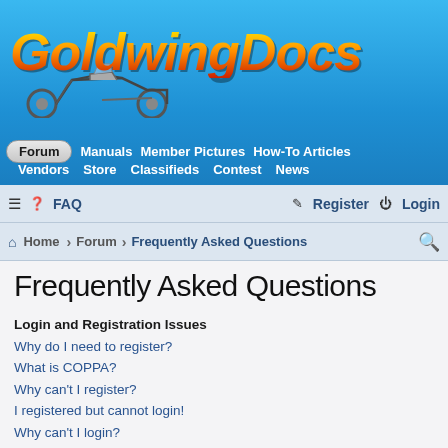[Figure (logo): GoldwingDocs logo with motorcycle image and stylized text on blue gradient background]
Forum | Manuals | Member Pictures | How-To Articles | Vendors | Store | Classifieds | Contest | News
☰ ❓ FAQ   ✎ Register ⏻ Login
Home › Forum › Frequently Asked Questions 🔍
Frequently Asked Questions
Login and Registration Issues
Why do I need to register?
What is COPPA?
Why can't I register?
I registered but cannot login!
Why can't I login?
I registered in the past but cannot login any more?!
I've lost my password!
Why do I get logged off automatically?